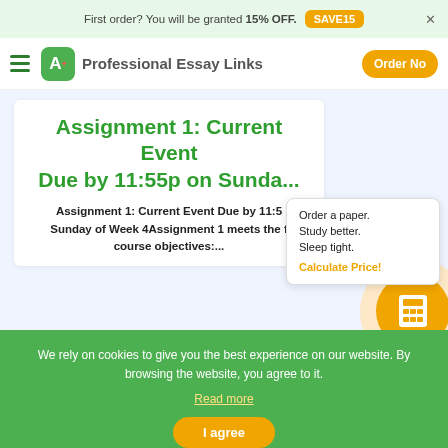First order? You will be granted 15% OFF. SAVE15
Professional Essay Links | Order Now
Assignment 1: Current Event Due by 11:55p on Sunda...
Assignment 1: Current Event Due by 11:55p Sunday of Week 4Assignment 1 meets the course objectives:...
Order a paper. Study better. Sleep tight. Calculate Price!
We rely on cookies to give you the best experience on our website. By browsing the website, you agree to it. Read more
I agree